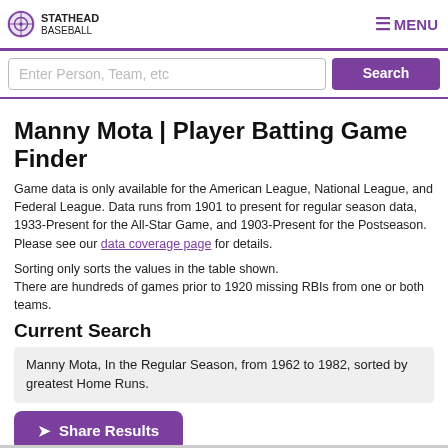STATHEAD BASEBALL | MENU
Enter Person, Team, etc | Search
Manny Mota | Player Batting Game Finder
Game data is only available for the American League, National League, and Federal League. Data runs from 1901 to present for regular season data, 1933-Present for the All-Star Game, and 1903-Present for the Postseason. Please see our data coverage page for details.
Sorting only sorts the values in the table shown.
There are hundreds of games prior to 1920 missing RBIs from one or both teams.
Current Search
Manny Mota, In the Regular Season, from 1962 to 1982, sorted by greatest Home Runs.
➜ Share Results